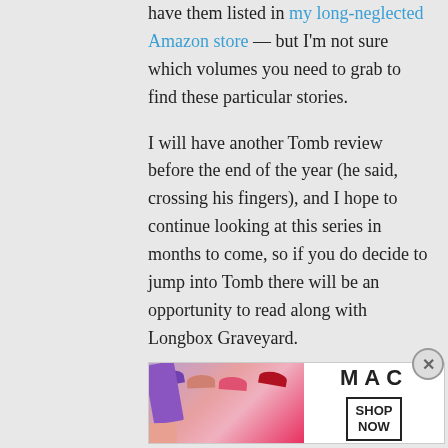have them listed in my long-neglected Amazon store — but I'm not sure which volumes you need to grab to find these particular stories.
I will have another Tomb review before the end of the year (he said, crossing his fingers), and I hope to continue looking at this series in months to come, so if you do decide to jump into Tomb there will be an opportunity to read along with Longbox Graveyard.
★ Like
Advertisements
[Figure (photo): MAC cosmetics advertisement showing lipsticks with SHOP NOW call to action]